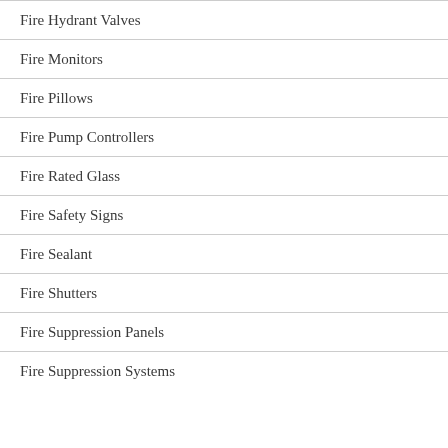Fire Hydrant Valves
Fire Monitors
Fire Pillows
Fire Pump Controllers
Fire Rated Glass
Fire Safety Signs
Fire Sealant
Fire Shutters
Fire Suppression Panels
Fire Suppression Systems